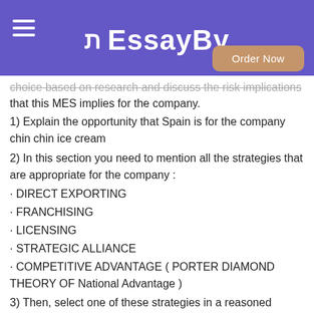EssayBy
choice based on research and discuss the risk implications that this MES implies for the company.
1) Explain the opportunity that Spain is for the company chin chin ice cream
2) In this section you need to mention all the strategies that are appropriate for the company :
· DIRECT EXPORTING
· FRANCHISING
· LICENSING
· STRATEGIC ALLIANCE
· COMPETITIVE ADVANTAGE ( PORTER DIAMOND THEORY OF National Advantage )
3) Then, select one of these strategies in a reasoned manner, discussing risk/cost and involvement/control
4) Explain why this is the best option for the company to enter the selected market